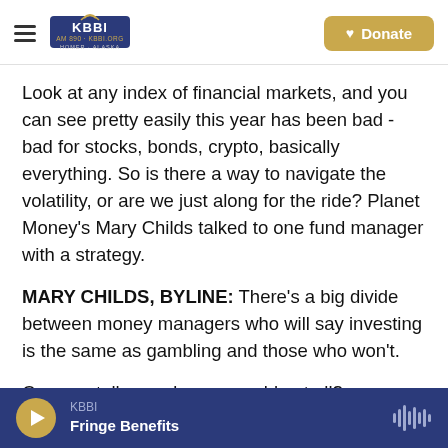KBBI AM 890 Homer Alaska — Donate
Look at any index of financial markets, and you can see pretty easily this year has been bad - bad for stocks, bonds, crypto, basically everything. So is there a way to navigate the volatility, or are we just along for the ride? Planet Money's Mary Childs talked to one fund manager with a strategy.
MARY CHILDS, BYLINE: There's a big divide between money managers who will say investing is the same as gambling and those who won't.
Can you tell me - do you gamble at all?
KBBI — Fringe Benefits